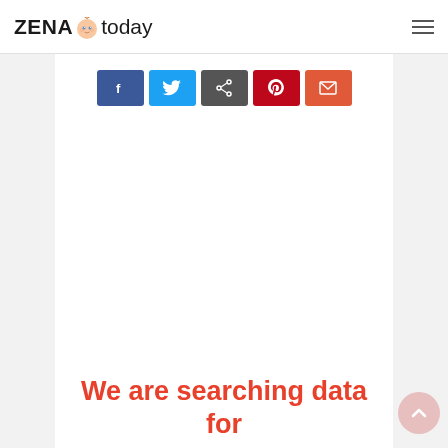[Figure (logo): ZENA today website logo with baby face emoji between ZENA and today]
[Figure (infographic): Row of 5 social share buttons: Facebook (blue), Twitter (light blue), share/bookmark (dark gray), Pinterest (red), email/other (orange-red)]
We are searching data for